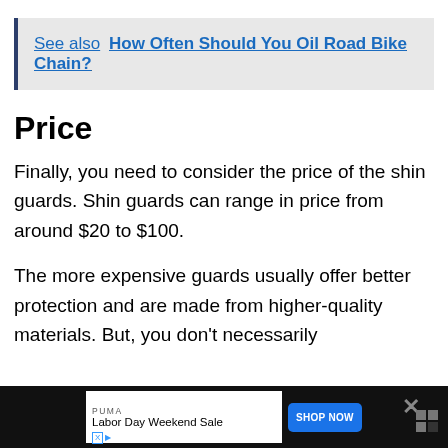See also  How Often Should You Oil Road Bike Chain?
Price
Finally, you need to consider the price of the shin guards. Shin guards can range in price from around $20 to $100.
The more expensive guards usually offer better protection and are made from higher-quality materials. But, you don't necessarily need to spend a lot of money to get a good
[Figure (other): Advertisement banner: PUMA Labor Day Weekend Sale with Shop Now button]